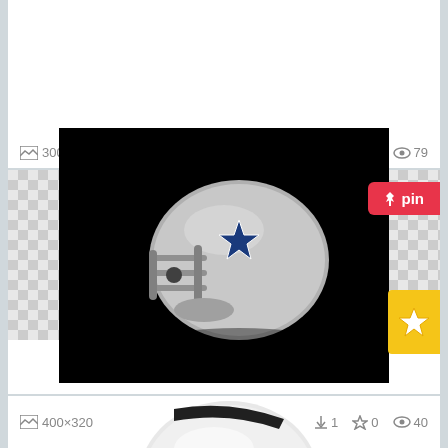300×233  ↓0  ☆0  👁79
[Figure (photo): Dallas Cowboys silver/chrome football helmet on black background, side view with face mask, featuring blue star logo]
Dallas cowboys helmet png.
400×320  ↓1  ☆0  👁40
[Figure (photo): Dallas Cowboys white football helmet on black background, side view with face mask, featuring blue star logo]